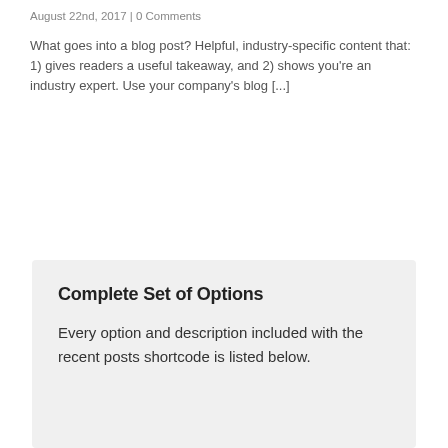August 22nd, 2017 | 0 Comments
What goes into a blog post? Helpful, industry-specific content that: 1) gives readers a useful takeaway, and 2) shows you're an industry expert. Use your company's blog [...]
Complete Set of Options
Every option and description included with the recent posts shortcode is listed below.